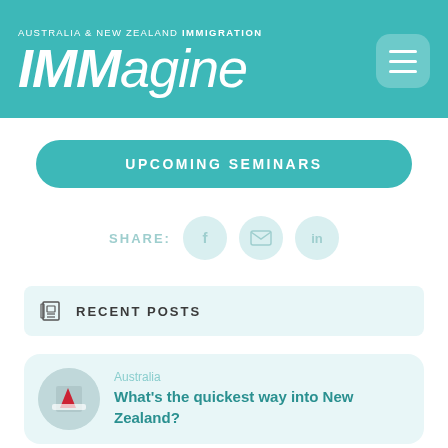AUSTRALIA & NEW ZEALAND IMMIGRATION IMMagine
UPCOMING SEMINARS
SHARE:
RECENT POSTS
Australia
What's the quickest way into New Zealand?